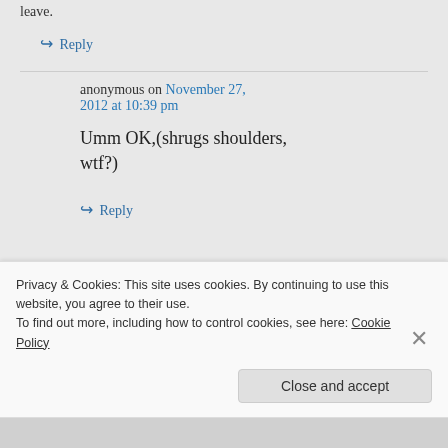leave.
↳ Reply
anonymous on November 27, 2012 at 10:39 pm
Umm OK,(shrugs shoulders, wtf?)
↳ Reply
Privacy & Cookies: This site uses cookies. By continuing to use this website, you agree to their use. To find out more, including how to control cookies, see here: Cookie Policy
Close and accept